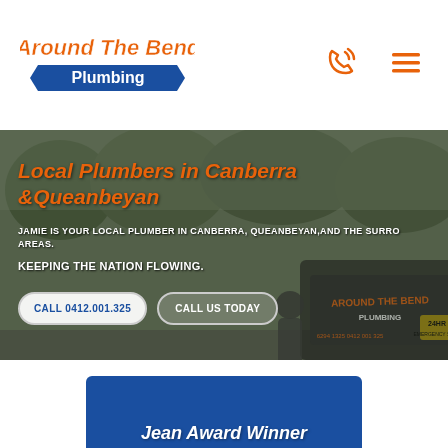[Figure (logo): Around The Bend Plumbing logo with orange text and blue banner]
[Figure (other): Orange phone/call icon]
[Figure (other): Orange hamburger menu icon]
[Figure (photo): Hero background photo of plumbing van with Around The Bend Plumbing branding and plumber standing in front]
Local Plumbers in Canberra &Queanbeyan
JAMIE IS YOUR LOCAL PLUMBER IN CANBERRA, QUEANBEYAN, AND THE SURROUNDING AREAS.
KEEPING THE NATION FLOWING.
CALL 0412.001.325
CALL US TODAY
Jean Award Winner